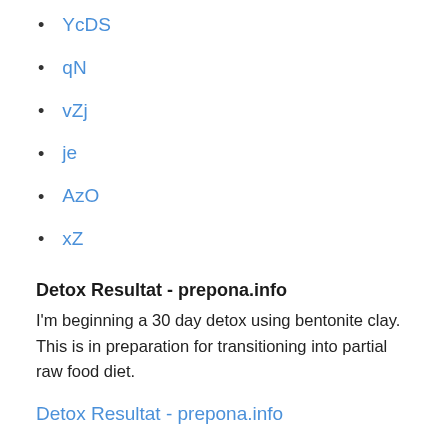YcDS
qN
vZj
je
AzO
xZ
Detox Resultat - prepona.info
I'm beginning a 30 day detox using bentonite clay. This is in preparation for transitioning into partial raw food diet.
Detox Resultat - prepona.info